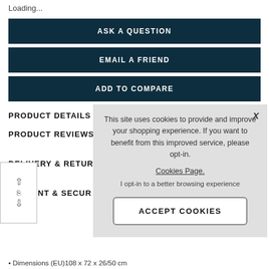Loading...
ASK A QUESTION
EMAIL A FRIEND
ADD TO COMPARE
PRODUCT DETAILS
PRODUCT REVIEWS
DELIVERY & RETUR
PAYMENT & SECUR
This site uses cookies to provide and improve your shopping experience. If you want to benefit from this improved service, please opt-in. Cookies Page. I opt-in to a better browsing experience
ACCEPT COOKIES
Dimensions (EU)108 x 72 x 26/50 cm